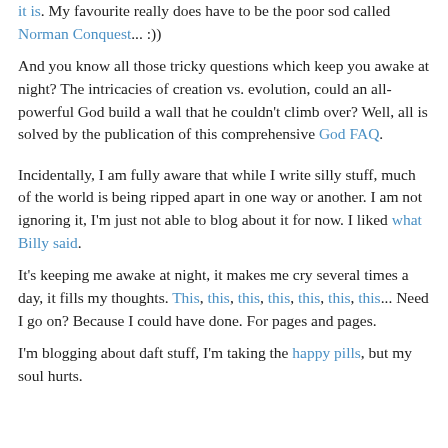it is. My favourite really does have to be the poor sod called Norman Conquest... :))
And you know all those tricky questions which keep you awake at night? The intricacies of creation vs. evolution, could an all-powerful God build a wall that he couldn't climb over? Well, all is solved by the publication of this comprehensive God FAQ.
Incidentally, I am fully aware that while I write silly stuff, much of the world is being ripped apart in one way or another. I am not ignoring it, I'm just not able to blog about it for now. I liked what Billy said.
It's keeping me awake at night, it makes me cry several times a day, it fills my thoughts. This, this, this, this, this, this, this... Need I go on? Because I could have done. For pages and pages.
I'm blogging about daft stuff, I'm taking the happy pills, but my soul hurts.